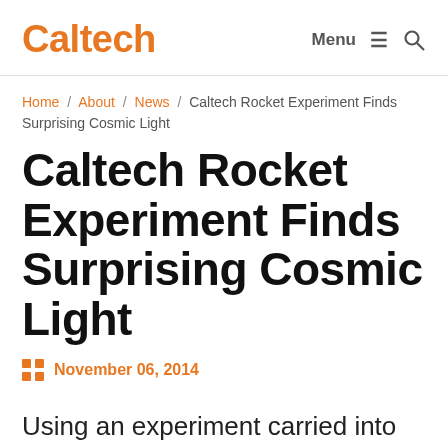Caltech | Menu ☰ 🔍
Home / About / News / Caltech Rocket Experiment Finds Surprising Cosmic Light
Caltech Rocket Experiment Finds Surprising Cosmic Light
November 06, 2014
Using an experiment carried into space on a NASA suborbital rocket,